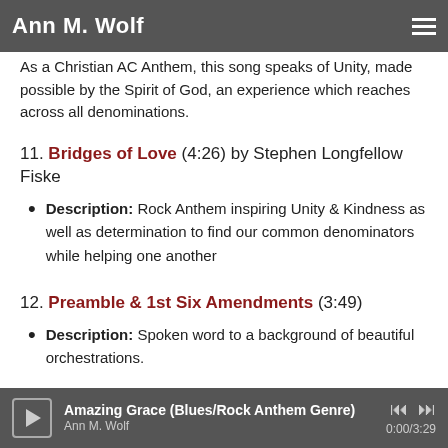Ann M. Wolf
...As a Christian AC Anthem, this song speaks of Unity, made possible by the Spirit of God, an experience which reaches across all denominations.
11. Bridges of Love (4:26) by Stephen Longfellow Fiske
Description: Rock Anthem inspiring Unity & Kindness as well as determination to find our common denominators while helping one another
12. Preamble & 1st Six Amendments (3:49)
Description: Spoken word to a background of beautiful orchestrations.
Amazing Grace (Blues/Rock Anthem Genre) · Ann M. Wolf · 0:00/3:29